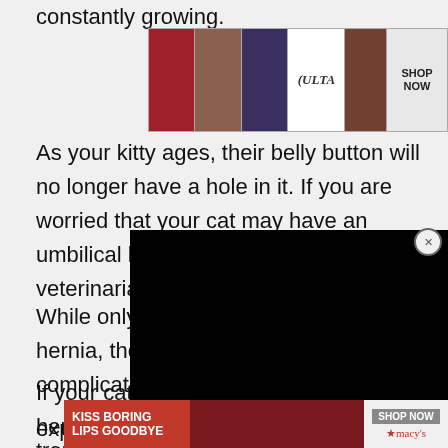constantly growing.
[Figure (screenshot): ULTA Beauty banner advertisement showing makeup imagery with 'SHOP NOW' button]
As your kitty ages, their belly button will no longer have a hole in it. If you are worried that your cat may have an umbilical hernia, please contact your veterinarian for further advice.
[Figure (screenshot): Black video overlay/popup with close (x) button in top right corner]
While only four percent of a[ll cats develop an umbilical] hernia, they can be suscept[ible to serious] complications if left untreat[ed].
If your cat does have an umbilical hernia [they] may experi[ence pain or] have troubl[e breathing because of]
[Figure (screenshot): Macy's 'KISS BORING LIPS GOODBYE' advertisement banner with woman photo and SHOP NOW button, with CLOSE button overlay]